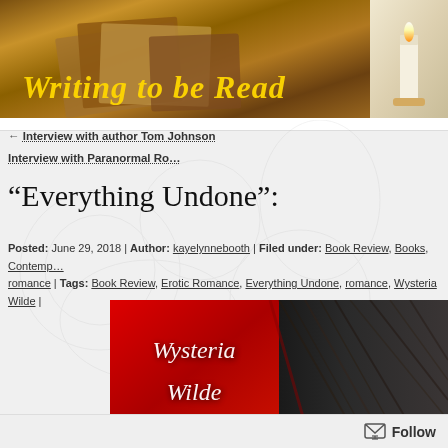[Figure (photo): Blog header banner showing old books on a wooden table with a candle, with the text 'Writing to be Read' in gold italic script overlay]
← Interview with author Tom Johnson
Interview with Paranormal Ro…
“Everything Undone”:
Posted: June 29, 2018 | Author: kayelynnebooth | Filed under: Book Review, Books, Contemp… romance | Tags: Book Review, Erotic Romance, Everything Undone, romance, Wysteria Wilde |
[Figure (photo): Book cover for Wysteria Wilde – left half red background with white italic script 'Wysteria Wilde', right half dark background showing dark hair]